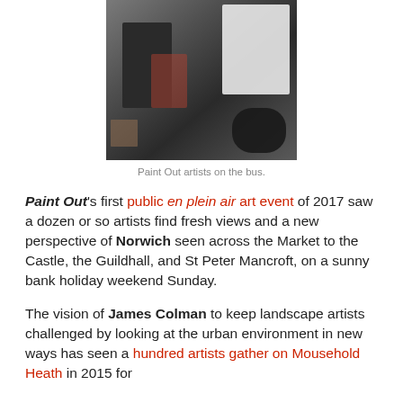[Figure (photo): Paint Out artists on a bus, bags and art supplies visible]
Paint Out artists on the bus.
Paint Out's first public en plein air art event of 2017 saw a dozen or so artists find fresh views and a new perspective of Norwich seen across the Market to the Castle, the Guildhall, and St Peter Mancroft, on a sunny bank holiday weekend Sunday.
The vision of James Colman to keep landscape artists challenged by looking at the urban environment in new ways has seen a hundred artists gather on Mousehold Heath in 2015 for